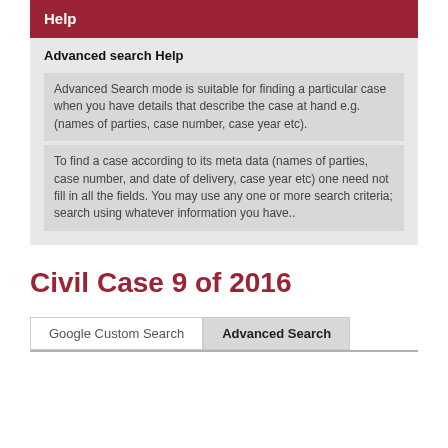Help
Advanced search Help
Advanced Search mode is suitable for finding a particular case when you have details that describe the case at hand e.g. (names of parties, case number, case year etc).
To find a case according to its meta data (names of parties, case number, and date of delivery, case year etc) one need not fill in all the fields. You may use any one or more search criteria; search using whatever information you have..
Civil Case 9 of 2016
Google Custom Search
Advanced Search